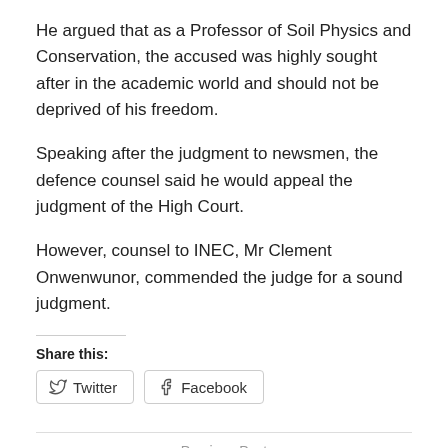He argued that as a Professor of Soil Physics and Conservation, the accused was highly sought after in the academic world and should not be deprived of his freedom.
Speaking after the judgment to newsmen, the defence counsel said he would appeal the judgment of the High Court.
However, counsel to INEC, Mr Clement Onwenwunor, commended the judge for a sound judgment.
Share this:
[Figure (other): Twitter and Facebook share buttons]
Previous Post
PHOTOS: University Of Aberdeen To Return Looted Benin